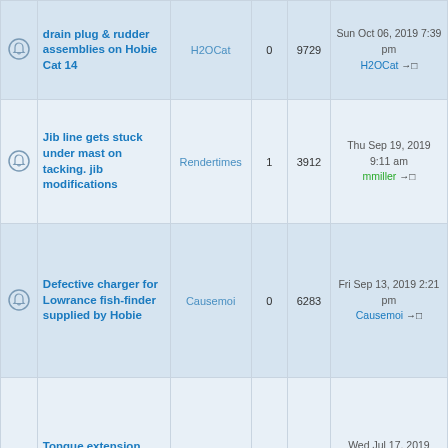|  | Topic | Author | Replies | Views | Last post |
| --- | --- | --- | --- | --- | --- |
| [icon] | drain plug & rudder assemblies on Hobie Cat 14 | H2OCat | 0 | 9729 | Sun Oct 06, 2019 7:39 pm H2OCat |
| [icon] | Jib line gets stuck under mast on tacking. jib modifications | Rendertimes | 1 | 3912 | Thu Sep 19, 2019 9:11 am mmiller |
| [icon] | Defective charger for Lowrance fish-finder supplied by Hobie | Causemoi | 0 | 6283 | Fri Sep 13, 2019 2:21 pm Causemoi |
| [icon] | Tongue extension (galvanized EZ loader Getaway trailer)? | mark.ungrin | 1 | 5876 | Wed Jul 17, 2019 11:03 am Hobiecowboy |
| [icon] | KeelEazy skid plate install on a 2019 Hobie Outback | mdewitt71 | 1 | 5332 | Fri Apr 12, 2019 6:58 am mdewitt71 |